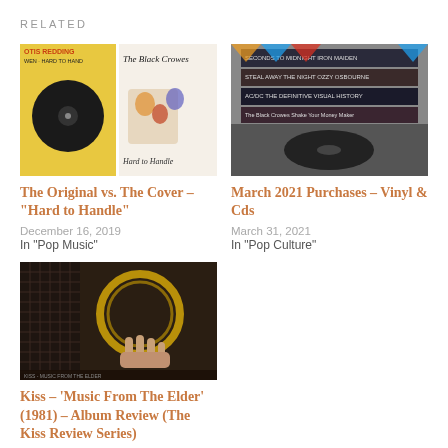RELATED
[Figure (photo): Two album covers side by side: Otis Redding 'WEN - Hard to Hand' and The Black Crowes 'Hard to Handle']
The Original vs. The Cover – "Hard to Handle"
December 16, 2019
In "Pop Music"
[Figure (photo): Stack of vinyl records and CDs including Iron Maiden, Ozzy Osbourne, AC/DC, and The Black Crowes books/albums on a turntable]
March 2021 Purchases – Vinyl & Cds
March 31, 2021
In "Pop Culture"
[Figure (photo): A hand holding a circular ring/hoop against a dark background, related to Kiss 'Music From The Elder' album]
Kiss – 'Music From The Elder' (1981) – Album Review (The Kiss Review Series)